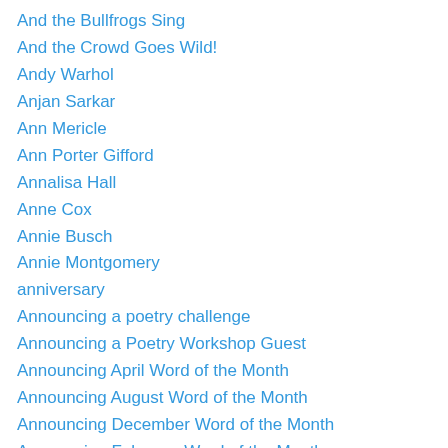And the Bullfrogs Sing
And the Crowd Goes Wild!
Andy Warhol
Anjan Sarkar
Ann Mericle
Ann Porter Gifford
Annalisa Hall
Anne Cox
Annie Busch
Annie Montgomery
anniversary
Announcing a poetry challenge
Announcing a Poetry Workshop Guest
Announcing April Word of the Month
Announcing August Word of the Month
Announcing December Word of the Month
Announcing February Word of the Month
Announcing January Word of the Month
Announcing July Word of the Month
Announcing March Word of the Month